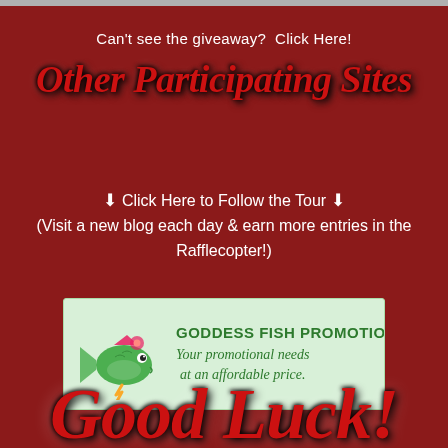Can't see the giveaway?  Click Here!
Other Participating Sites
⬇ Click Here to Follow the Tour ⬇
(Visit a new blog each day & earn more entries in the Rafflecopter!)
[Figure (logo): Goddess Fish Promotions logo with illustrated colorful fish and text: GODDESS FISH PROMOTIONS / Your promotional needs at an affordable price.]
Good Luck!